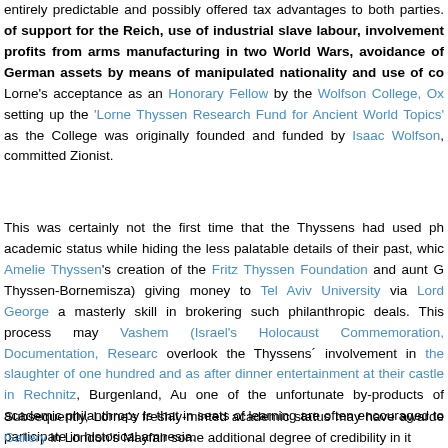entirely predictable and possibly offered tax advantages to both parties. of support for the Reich, use of industrial slave labour, involvement profits from arms manufacturing in two World Wars, avoidance of German assets by means of manipulated nationality and use of co Lorne's acceptance as an Honorary Fellow by the Wolfson College, Ox setting up the 'Lorne Thyssen Research Fund for Ancient World Topics' as the College was originally founded and funded by Isaac Wolfson, committed Zionist.
This was certainly not the first time that the Thyssens had used ph academic status while hiding the less palatable details of their past, whic Amelie Thyssen's creation of the Fritz Thyssen Foundation and aunt G Thyssen-Bornemisza) giving money to Tel Aviv University via Lord George a masterly skill in brokering such philanthropic deals. This process may Vashem (Israel's Holocaust Commemoration, Documentation, Researc overlook the Thyssens' involvement in the slaughter of one hundred and as after dinner entertainment at their castle in Rechnitz, Burgenland, Au one of the unfortunate by-products of academic philanthropy is that in seats of learning are often encouraged to participate in historical amnesia.
Subsequently, Lorne's freshly-minted academic status may have awarde Gallery in London's Mayfair some additional degree of credibility in it